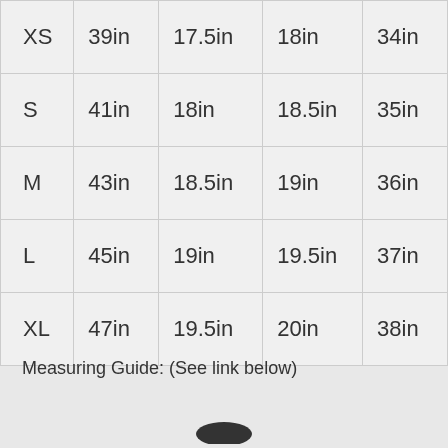| XS | 39in | 17.5in | 18in | 34in |
| S | 41in | 18in | 18.5in | 35in |
| M | 43in | 18.5in | 19in | 36in |
| L | 45in | 19in | 19.5in | 37in |
| XL | 47in | 19.5in | 20in | 38in |
Measuring Guide: (See link below)